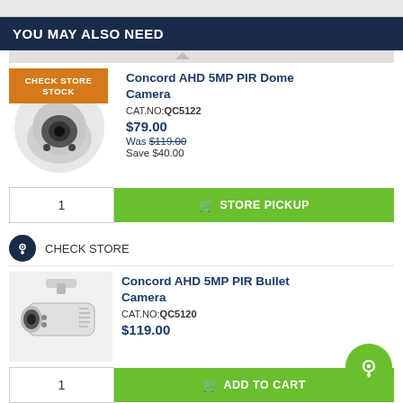YOU MAY ALSO NEED
[Figure (photo): Concord AHD 5MP PIR Dome Camera product image with orange CHECK STORE STOCK badge]
Concord AHD 5MP PIR Dome Camera
CAT.NO:QC5122
$79.00
Was $119.00
Save $40.00
1
STORE PICKUP
CHECK STORE
[Figure (photo): Concord AHD 5MP PIR Bullet Camera product image]
Concord AHD 5MP PIR Bullet Camera
CAT.NO:QC5120
$119.00
1
ADD TO CART